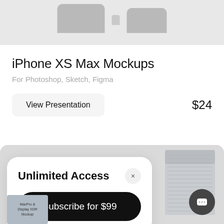[Figure (photo): Top portion of device mockup preview on gray background]
iPhone XS Max Mockups
For Photoshop, Sketch, Figma
View Presentation
$24
[Figure (photo): Gray section showing a modal dialog with 'Unlimited Access' heading and 'Subscribe for $99' button, overlaid on product photo showing Mac Pro and Display XDR mockup box]
Unlimited Access
Subscribe for $99
MacPro & Display XDR Mockup